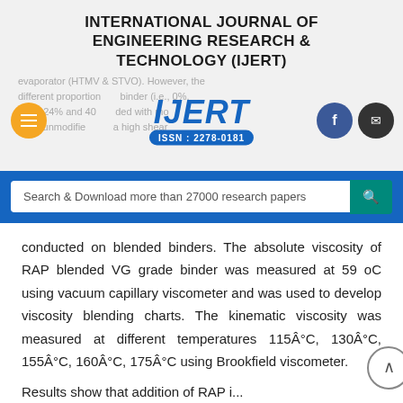INTERNATIONAL JOURNAL OF ENGINEERING RESEARCH & TECHNOLOGY (IJERT)
[Figure (logo): IJERT logo with ISSN 2278-0181, hamburger menu button (orange), Facebook button (blue), and mail button (dark)]
Search & Download more than 27000 research papers
conducted on blended binders. The absolute viscosity of RAP blended VG grade binder was measured at 59 oC using vacuum capillary viscometer and was used to develop viscosity blending charts. The kinematic viscosity was measured at different temperatures 115Â°C, 130Â°C, 155Â°C, 160Â°C, 175Â°C using Brookfield viscometer.
Results show that addition of RAP i...